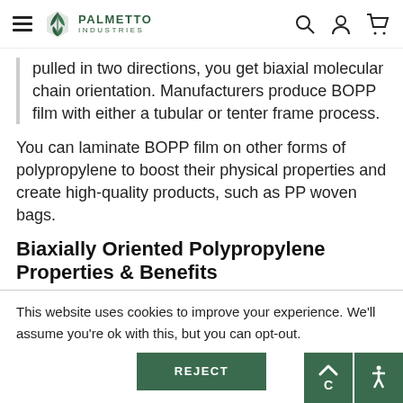Palmetto Industries
pulled in two directions, you get biaxial molecular chain orientation. Manufacturers produce BOPP film with either a tubular or tenter frame process.
You can laminate BOPP film on other forms of polypropylene to boost their physical properties and create high-quality products, such as PP woven bags.
Biaxially Oriented Polypropylene Properties & Benefits
This website uses cookies to improve your experience. We'll assume you're ok with this, but you can opt-out.
REJECT